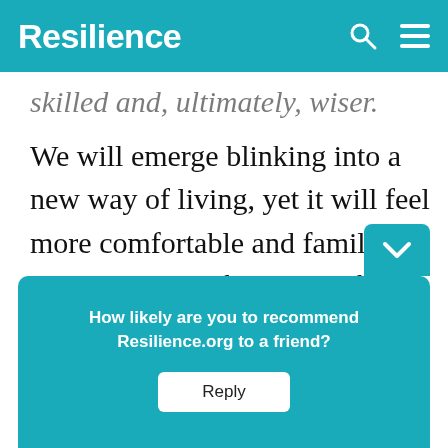Resilience
skilled and, ultimately, wiser.
We will emerge blinking into a new way of living, yet it will feel more comfortable and familiar than what we left behind. If we are to trade mobility, growth and affluence for something else, we
How likely are you to recommend Resilience.org to a friend?
Reply